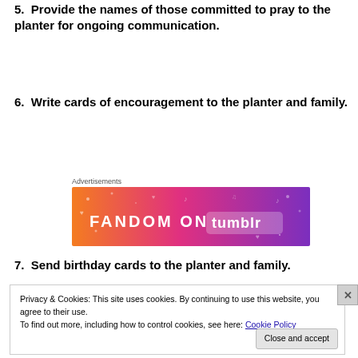5.  Provide the names of those committed to pray to the planter for ongoing communication.
6.  Write cards of encouragement to the planter and family.
[Figure (other): Fandom on Tumblr advertisement banner with colorful gradient background (orange to purple) and white text.]
7.  Send birthday cards to the planter and family.
Privacy & Cookies: This site uses cookies. By continuing to use this website, you agree to their use.
To find out more, including how to control cookies, see here: Cookie Policy
Close and accept